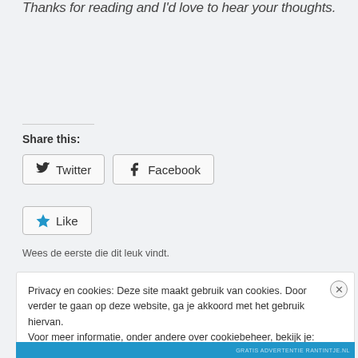Thanks for reading and I'd love to hear your thoughts.
Share this:
Twitter
Facebook
Like
Wees de eerste die dit leuk vindt.
Privacy en cookies: Deze site maakt gebruik van cookies. Door verder te gaan op deze website, ga je akkoord met het gebruik hiervan. Voor meer informatie, onder andere over cookiebeheer, bekijk je: Cookiebeleid
Sluiten en bevestigen